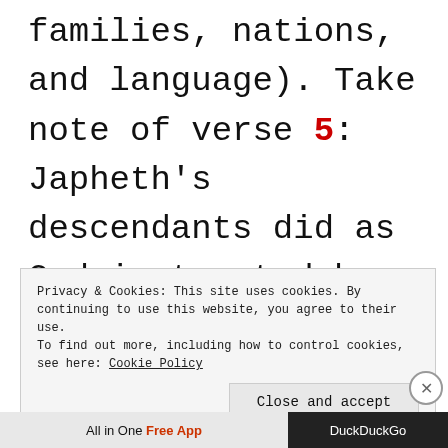families, nations, and language). Take note of verse 5: Japheth's descendants did as God instructed by scattering and populating the area
Privacy & Cookies: This site uses cookies. By continuing to use this website, you agree to their use.
To find out more, including how to control cookies, see here: Cookie Policy

Close and accept